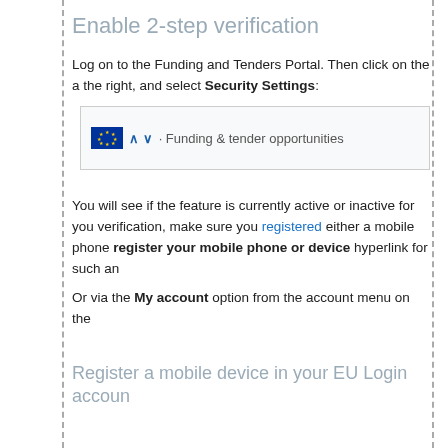Enable 2-step verification
Log on to the Funding and Tenders Portal. Then click on the a the right, and select Security Settings:
[Figure (screenshot): Screenshot showing EU logo and 'Funding & tender opportunities' portal navigation bar]
You will see if the feature is currently active or inactive for you verification, make sure you registered either a mobile phone register your mobile phone or device hyperlink for such an
Or via the My account option from the account menu on the
Register a mobile device in your EU Login accoun